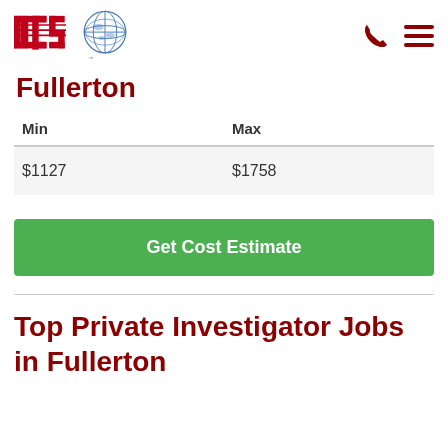[Figure (logo): ICS logo with globe graphic and red stylized letters ICS with horizontal speed lines]
Fullerton
| Min | Max |
| --- | --- |
| $1127 | $1758 |
Get Cost Estimate
Top Private Investigator Jobs in Fullerton